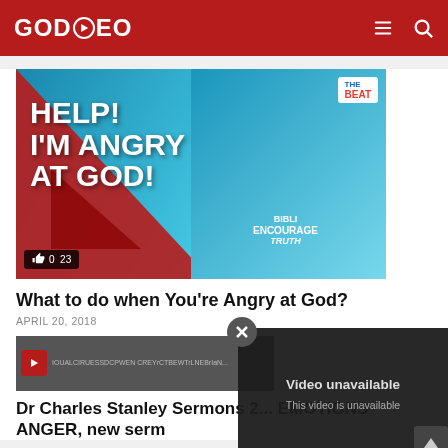GODVEO
[Figure (screenshot): Video thumbnail: man in black t-shirt with text HELP! I'M ANGRY AT GOD! on a red and blue background, with The Beat logo in top right and engagement icons showing 0 likes and 23 views]
What to do when You're Angry at God?
APRIL 20, 2018
[Figure (screenshot): Second video thumbnail showing blurry text content]
[Figure (screenshot): Video unavailable overlay with X button showing text: Video unavailable. This video is unavailable.]
Dr Charles Stanley Sermons 2... EMOTIONS ANGER, new serm